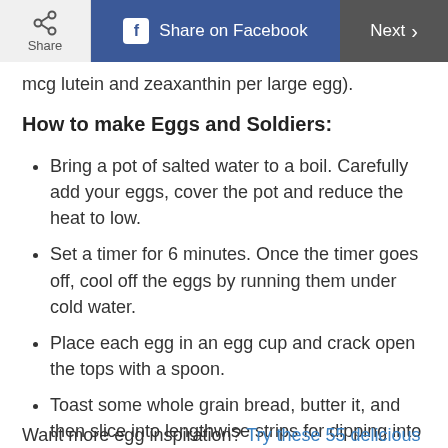Share | Share on Facebook | Next
mcg lutein and zeaxanthin per large egg).
How to make Eggs and Soldiers:
Bring a pot of salted water to a boil. Carefully add your eggs, cover the pot and reduce the heat to low.
Set a timer for 6 minutes. Once the timer goes off, cool off the eggs by running them under cold water.
Place each egg in an egg cup and crack open the tops with a spoon.
Toast some whole grain bread, butter it, and then slice into lengthwise strips for dipping into your soft boiled egg. Enjoy!
Want more egg inspiration? Try these 55 delicious